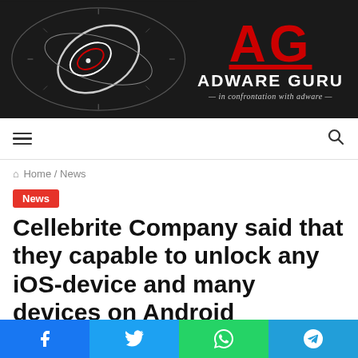[Figure (logo): Adware Guru website banner with dark background, abstract lens/circle graphic on left, large red 'AG' letters and 'ADWARE GURU' text on right with tagline 'in confrontation with adware']
Navigation bar with hamburger menu icon and search icon
Home / News
News
Cellebrite Company said that they capable to unlock any iOS-device and many devices on Android
Social share buttons: Facebook, Twitter, WhatsApp, Telegram